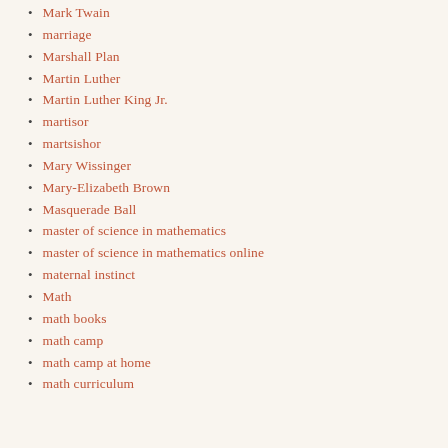Mark Twain
marriage
Marshall Plan
Martin Luther
Martin Luther King Jr.
martisor
martsishor
Mary Wissinger
Mary-Elizabeth Brown
Masquerade Ball
master of science in mathematics
master of science in mathematics online
maternal instinct
Math
math books
math camp
math camp at home
math curriculum